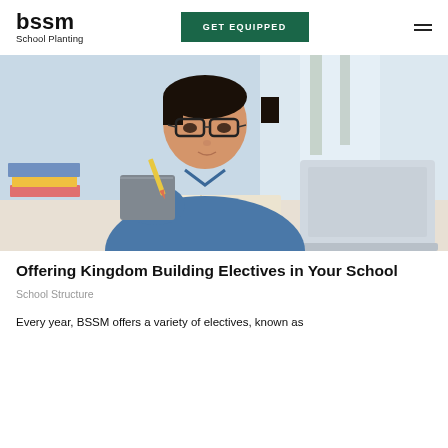bssm
School Planting
[Figure (photo): Young Asian man with glasses wearing a blue denim shirt, holding a pencil and notebook, studying at a desk with an open laptop and several books in front of him. Bright indoor setting.]
Offering Kingdom Building Electives in Your School
School Structure
Every year, BSSM offers a variety of electives, known as